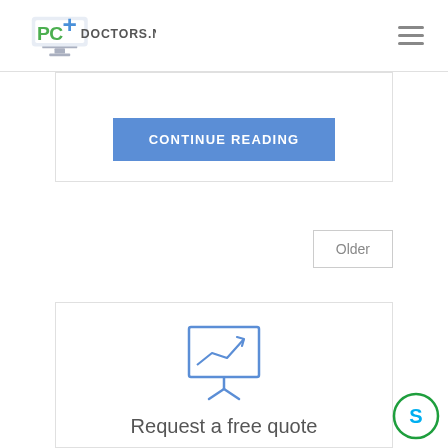[Figure (logo): PC Doctors .net logo with green PC letters and blue plus sign and computer monitor icon]
CONTINUE READING
Older
[Figure (illustration): Presentation board icon with upward trending line chart, blue outline style]
Request a free quote